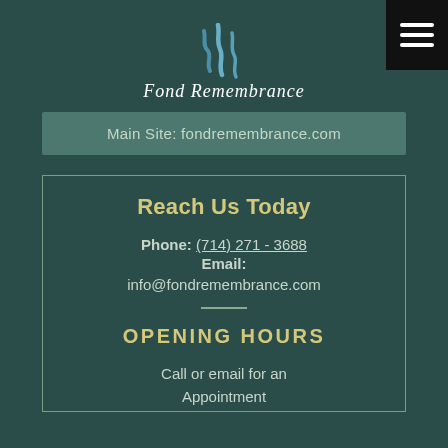[Figure (logo): Fond Remembrance logo with stylized blue flame/wave graphic above cursive text 'Fond Remembrance']
Main Site: fondremembrance.com
Reach Us Today
Phone: (714) 271 - 3688
Email:
info@fondremembrance.com
OPENING HOURS
Call or email for an Appointment